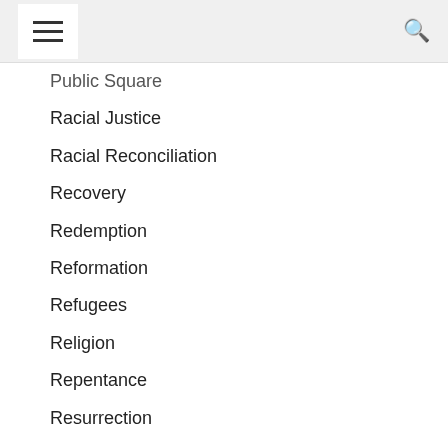[hamburger menu] [search icon]
Public Square
Racial Justice
Racial Reconciliation
Recovery
Redemption
Reformation
Refugees
Religion
Repentance
Resurrection
Revelation
Review
Revival
Righteousness
Romans